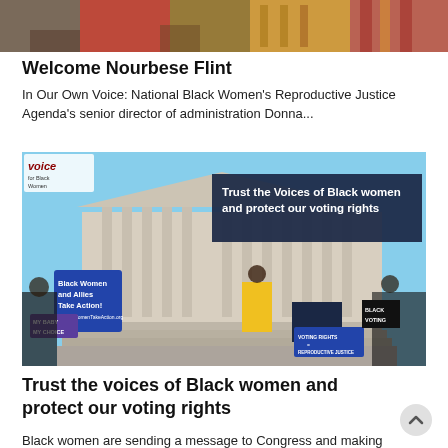[Figure (photo): Top portion of a group photo showing people in colorful clothing]
Welcome Nourbese Flint
In Our Own Voice: National Black Women's Reproductive Justice Agenda's senior director of administration Donna...
[Figure (photo): Rally in front of the Supreme Court with signs reading 'Trust the Voices of Black women and protect our voting rights' and 'Black Women and Allies Take Action!' and 'VOTING RIGHTS = REPRODUCTIVE JUSTICE']
Trust the voices of Black women and protect our voting rights
Black women are sending a message to Congress and making